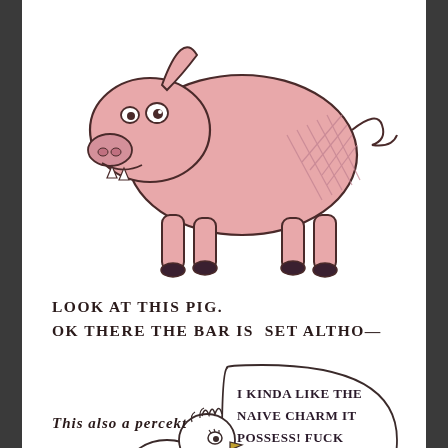[Figure (illustration): Hand-drawn cartoon illustration of a pink pig with an open mouth showing teeth, walking to the right. The pig has a chunky body with cross-hatched shading on the hindquarters.]
LOOK AT THIS PIG.
OK THERE THE BAR IS SET ALTHO—
[Figure (illustration): Hand-drawn cartoon of a chicken/rooster character holding a sketchbook/drawing pad, with a speech bubble reading: 'I KINDA LIKE THE NAIVE CHARM IT POSSESS! FUCK THIS!']
This also a percekt